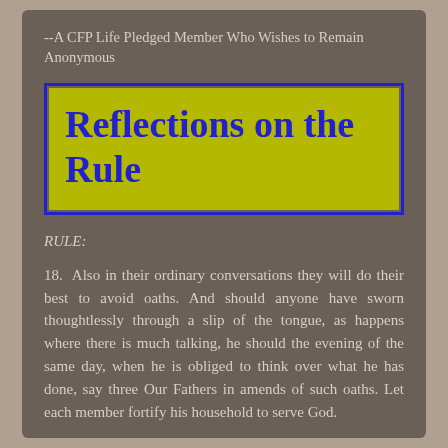--A CFP Life Pledged Member Who Wishes to Remain Anonymous
Reflections on the Rule
RULE:
18.  Also in their ordinary conversations they will do their best to avoid oaths. And should anyone have sworn thoughtlessly through a slip of the tongue, as happens where there is much talking, he should the evening of the same day, when he is obliged to think over what he has done, say three Our Fathers in amends of such oaths. Let each member fortify his household to serve God.